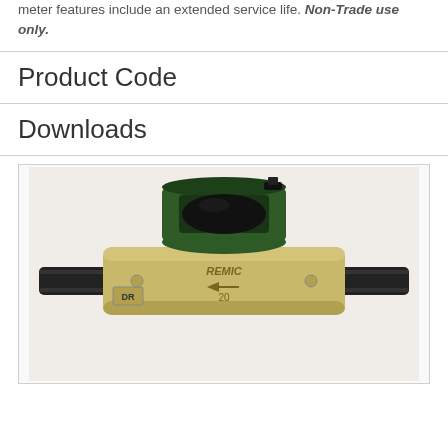meter features include an extended service life. Non-Trade use only.
Product Code
Downloads
[Figure (photo): A brass water meter (REMIC brand, size 20) with a dark green cast iron top register housing and black plastic pipe connectors on each side. A label reading 'DR' is visible on the left side of the body.]